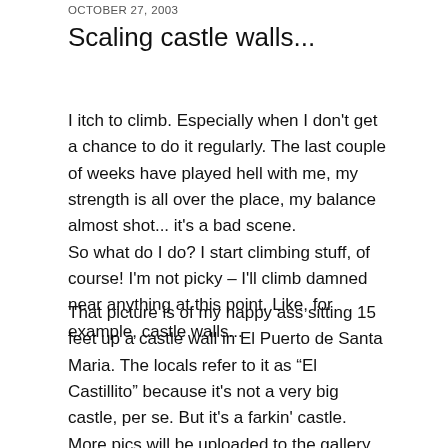OCTOBER 27, 2003
Scaling castle walls...
I itch to climb. Especially when I don't get a chance to do it regularly. The last couple of weeks have played hell with me, my strength is all over the place, my balance almost shot... it's a bad scene.
So what do I do? I start climbing stuff, of course! I'm not picky – I'll climb damned near anything at this point. Like, for example, castle walls...
That picture is of my happy ass sitting 15 feet up a castle wall in El Puerto de Santa Maria. The locals refer to it as “El Castillito” because it's not a very big castle, per se. But it's a farkin' castle. More pics will be uploaded to the gallery later this evening.
I'm still in the process of breaking in the new Galileos, but they're super comfortable compared to the Anasazis and stickier'n flies on shit. Or something.